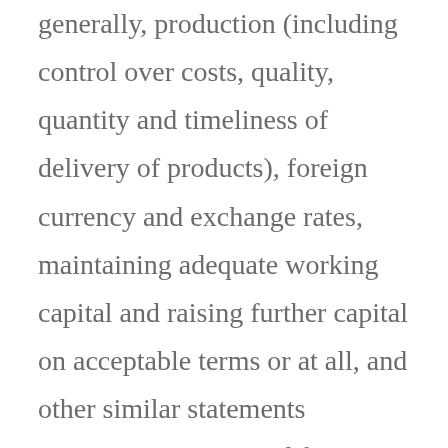generally, production (including control over costs, quality, quantity and timeliness of delivery of products), foreign currency and exchange rates, maintaining adequate working capital and raising further capital on acceptable terms or at all, and other similar statements concerning anticipated future events, conditions or results that are not historical facts. These statements reflect management's current estimates, beliefs, intentions and expectations; they are not